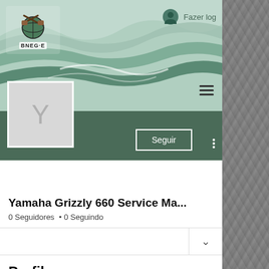[Figure (screenshot): BNEG-E website header with wavy green background, logo, login icon and hamburger menu]
[Figure (photo): Rock/stone texture on right side]
Fazer log
Yamaha Grizzly 660 Service Ma...
0 Seguidores • 0 Seguindo
Perfil
Data de entrada: 15 de mai. de 2022